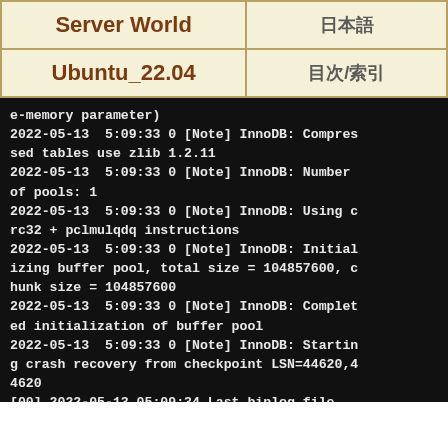| Server World | 日本語 |
| --- | --- |
| Ubuntu_22.04 | 目次/索引 |
e-memory parameter)
2022-05-13  5:09:33 0 [Note] InnoDB: Compressed tables use zlib 1.2.11
2022-05-13  5:09:33 0 [Note] InnoDB: Number of pools: 1
2022-05-13  5:09:33 0 [Note] InnoDB: Using crc32 + pclmulqdq instructions
2022-05-13  5:09:33 0 [Note] InnoDB: Initializing buffer pool, total size = 104857600, chunk size = 104857600
2022-05-13  5:09:33 0 [Note] InnoDB: Completed initialization of buffer pool
2022-05-13  5:09:33 0 [Note] InnoDB: Starting crash recovery from checkpoint LSN=44620,44620
[00] 2022-05-13 05:09:34 Last binlog file , position 0
[00] 2022-05-13 05:09:34 completed OK!